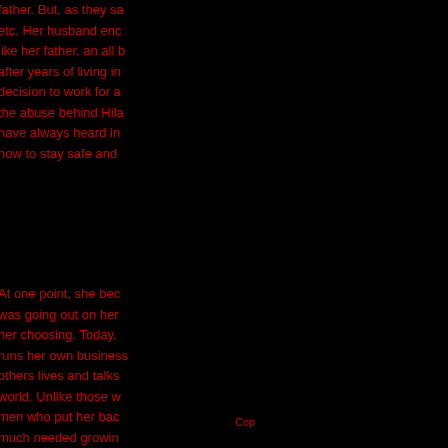father. But, as they sa... etc. Her husband enc... like her father, an all b... after years of living in... decision to work for a... the abuse behind Hila... have always heard in... how to stay safe and...
At one point, she bec... was going out on her... her choosing. Today,... runs her own business... others lives and talks... world. Unlike those w... men who put her bac... much needed growin...
Cop...